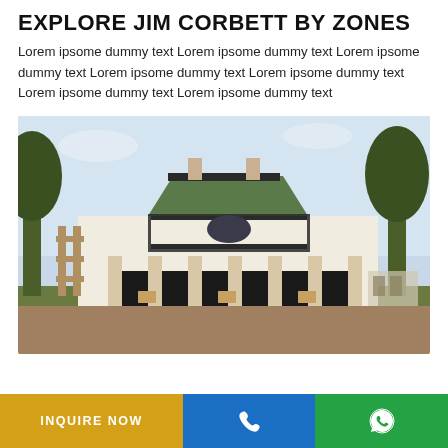EXPLORE JIM CORBETT BY ZONES
Lorem ipsome dummy text Lorem ipsome dummy text Lorem ipsome dummy text Lorem ipsome dummy text Lorem ipsome dummy text Lorem ipsome dummy text Lorem ipsome dummy text
[Figure (photo): Colonial-style two-story building with white columns, green roof, and balcony, surrounded by trees and open grounds — Jim Corbett area]
INQUIRE NOW | Phone icon | WhatsApp icon